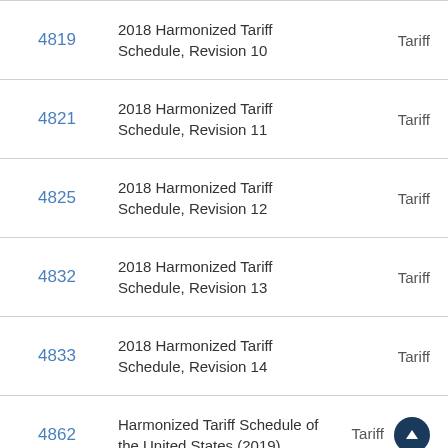| ID | Title | Type |
| --- | --- | --- |
| 4819 | 2018 Harmonized Tariff Schedule, Revision 10 | Tariff |
| 4821 | 2018 Harmonized Tariff Schedule, Revision 11 | Tariff |
| 4825 | 2018 Harmonized Tariff Schedule, Revision 12 | Tariff |
| 4832 | 2018 Harmonized Tariff Schedule, Revision 13 | Tariff |
| 4833 | 2018 Harmonized Tariff Schedule, Revision 14 | Tariff |
| 4862 | Harmonized Tariff Schedule of the United States (2019) | Tariff |